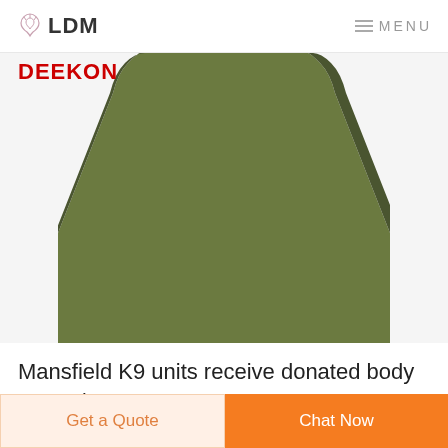LDM  MENU
[Figure (photo): Green military-style body armor plate shown from the front, with DEEKON logo in red text overlaid on the upper left. The plate has a rounded top and tapered trapezoidal shape in olive/army green color.]
Mansfield K9 units receive donated body armor | News ...
Get a Quote
Chat Now